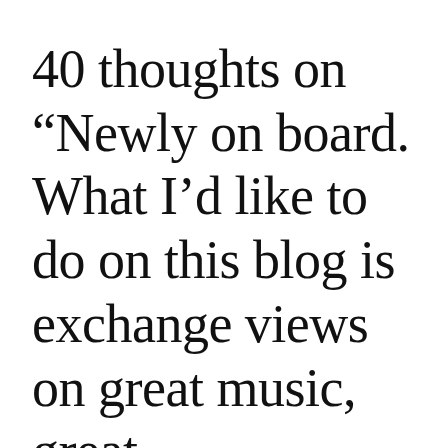40 thoughts on “Newly on board. What I’d like to do on this blog is exchange views on great music, great performances